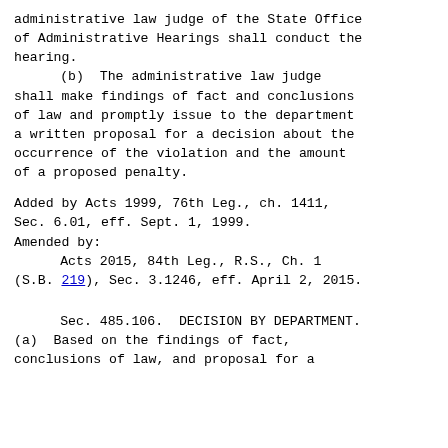administrative law judge of the State Office of Administrative Hearings shall conduct the hearing.
(b) The administrative law judge shall make findings of fact and conclusions of law and promptly issue to the department a written proposal for a decision about the occurrence of the violation and the amount of a proposed penalty.
Added by Acts 1999, 76th Leg., ch. 1411, Sec. 6.01, eff. Sept. 1, 1999.
Amended by:
    Acts 2015, 84th Leg., R.S., Ch. 1 (S.B. 219), Sec. 3.1246, eff. April 2, 2015.
Sec. 485.106. DECISION BY DEPARTMENT. (a) Based on the findings of fact, conclusions of law, and proposal for a